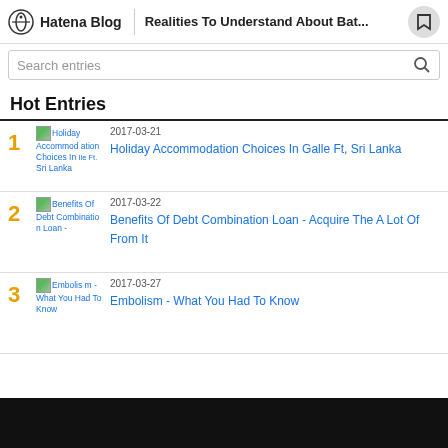Hatena Blog | Realities To Understand About Bat...
Search entries
Hot Entries
1 | 2017-03-21 | Holiday Accommodation Choices In Galle Ft, Sri Lanka
2 | 2017-03-22 | Benefits Of Debt Combination Loan - Acquire The A Lot Of From It
3 | 2017-03-27 | Embolism - What You Had To Know